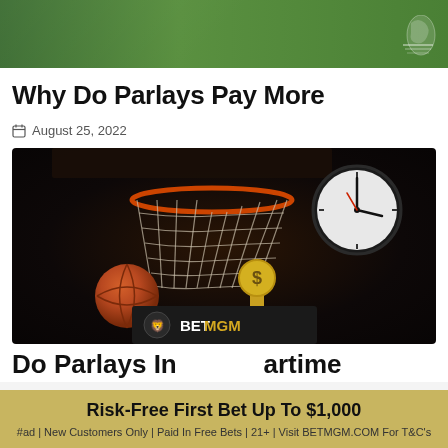[Figure (photo): Top banner photo showing running track athletes legs and grass field with a logo in the top right corner]
Why Do Parlays Pay More
August 25, 2022
[Figure (photo): Basketball hoop with net in a dark arena, a basketball mid-air, a wall clock in the upper right, and a finger pressing a coin/dollar button icon in the center-bottom. A BETMGM overlay logo appears at the bottom.]
Do Parlays In... ...artime
Risk-Free First Bet Up To $1,000
#ad | New Customers Only | Paid In Free Bets | 21+ | Visit BETMGM.COM For T&C's